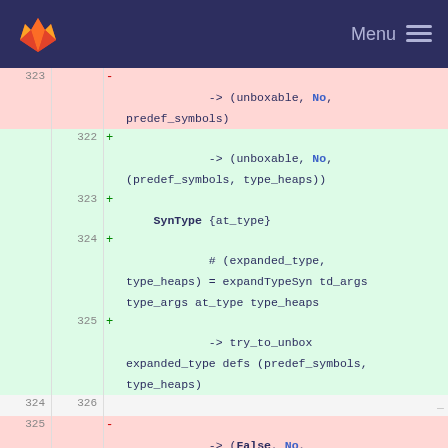GitLab Menu
323  -  -> (unboxable, No, predef_symbols)
322  +  -> (unboxable, No, (predef_symbols, type_heaps))
323  +  SynType {at_type}
324  +  # (expanded_type, type_heaps) = expandTypeSyn td_args type_args at_type type_heaps
325  +  -> try_to_unbox expanded_type defs (predef_symbols, type_heaps)
324  326  _
325  -  -> (False, No, predef_symbols)